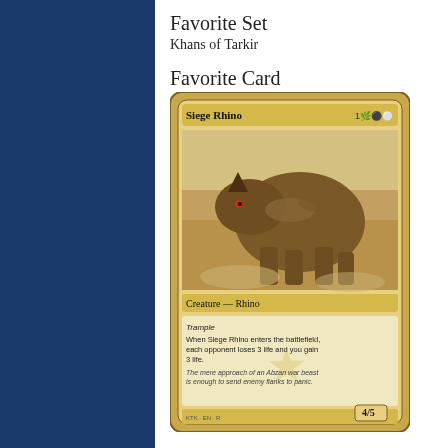Favorite Set
Khans of Tarkir
Favorite Card
[Figure (illustration): Magic: The Gathering card 'Siege Rhino' — a large armored rhinoceros creature card with gold border, Creature — Rhino type, Trample ability, 4/5 power/toughness, from Khans of Tarkir set.]
Early Challenge
Bardini started at FNM's and slowly got better and b there to PTQs. He focused and ground and got bette Bardini learned to play a lot.
Worst Magic Moment
Bardini went through a period where he lost all the t 2017, Bardini had a great start on day 1 but went 0-5